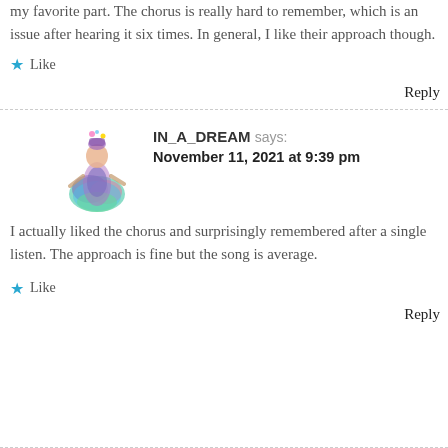my favorite part. The chorus is really hard to remember, which is an issue after hearing it six times. In general, I like their approach though.
★ Like
Reply
IN_A_DREAM says: November 11, 2021 at 9:39 pm
I actually liked the chorus and surprisingly remembered after a single listen. The approach is fine but the song is average.
★ Like
Reply